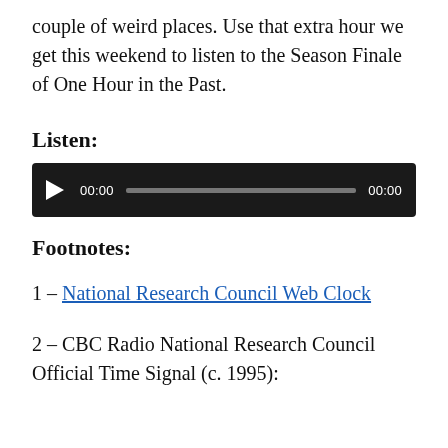couple of weird places. Use that extra hour we get this weekend to listen to the Season Finale of One Hour in the Past.
Listen:
[Figure (other): Audio player widget with play button, progress bar showing 00:00, and duration 00:00 on a dark background]
Footnotes:
1 – National Research Council Web Clock
2 – CBC Radio National Research Council Official Time Signal (c. 1995):